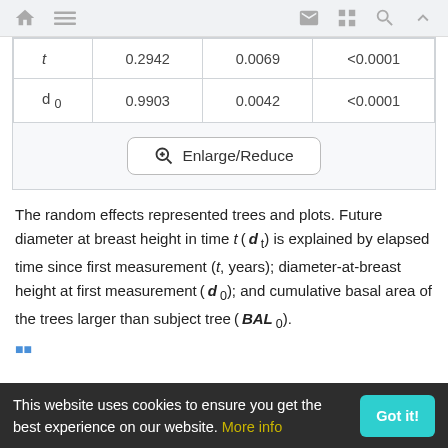navigation bar with home, menu, mail, grid, search, up icons
| t | 0.2942 | 0.0069 | <0.0001 |
| d0 | 0.9903 | 0.0042 | <0.0001 |
Enlarge/Reduce
The random effects represented trees and plots. Future diameter at breast height in time t ( d t) is explained by elapsed time since first measurement (t, years); diameter-at-breast height at first measurement ( d 0); and cumulative basal area of the trees larger than subject tree ( BAL 0).
This website uses cookies to ensure you get the best experience on our website. More info. Got it!